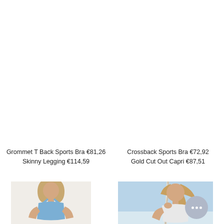Grommet T Back Sports Bra €81,26
Skinny Legging €114,59
Crossback Sports Bra €72,92
Gold Cut Out Capri €87,51
[Figure (photo): Woman wearing athletic sportswear, cropped view showing upper body]
[Figure (photo): Woman in athletic wear against blue sky background holding rope]